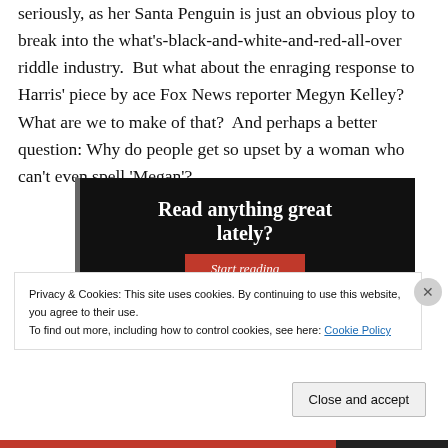seriously, as her Santa Penguin is just an obvious ploy to break into the what's-black-and-white-and-red-all-over riddle industry.  But what about the enraging response to Harris' piece by ace Fox News reporter Megyn Kelley?  What are we to make of that?  And perhaps a better question: Why do people get so upset by a woman who can't even spell 'Megan'?
[Figure (other): Black promotional banner with text 'Read anything great lately?' and a red 'Start reading' button]
Privacy & Cookies: This site uses cookies. By continuing to use this website, you agree to their use.
To find out more, including how to control cookies, see here: Cookie Policy
Close and accept